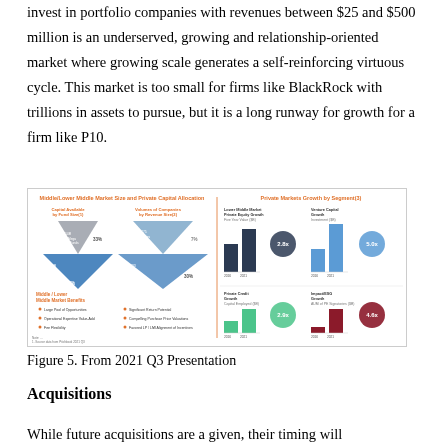invest in portfolio companies with revenues between $25 and $500 million is an underserved, growing and relationship-oriented market where growing scale generates a self-reinforcing virtuous cycle. This market is too small for firms like BlackRock with trillions in assets to pursue, but it is a long runway for growth for a firm like P10.
[Figure (infographic): Middle/Lower Middle Market Size and Private Capital Allocation infographic showing capital available by fund size, volumes of companies by revenue size with triangular diagrams, and Private Markets Growth by Segment showing growth metrics for Lower Middle Market Private Equity, Venture Capital, Private Credit Growth, and Impact/ESG assets with bar charts and bubble indicators (2.8x, 5.0x, 2.9x, 4.6x growth multiples).]
Figure 5. From 2021 Q3 Presentation
Acquisitions
While future acquisitions are a given, their timing will